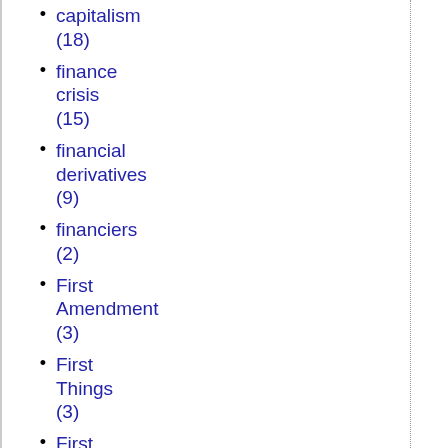capitalism (18)
finance crisis (15)
financial derivatives (9)
financiers (2)
First Amendment (3)
First Things (3)
First World War (1)
fish (1)
Fitna (1)
Flags